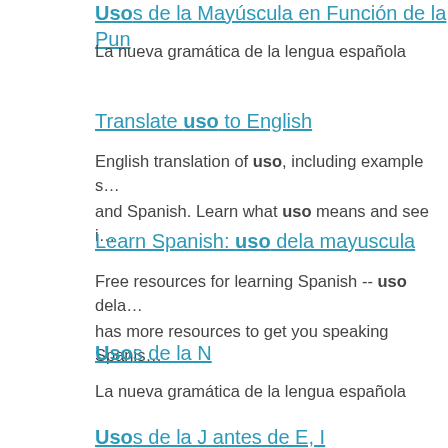Usos de la Mayúscula en Función de la Pun...
La nueva gramática de la lengua española
Translate uso to English
English translation of uso, including example s... and Spanish. Learn what uso means and see i...
Learn Spanish: uso dela mayuscula
Free resources for learning Spanish -- uso dela... has more resources to get you speaking Spanis...
Usos de la N
La nueva gramática de la lengua española
Usos de la J antes de E, I